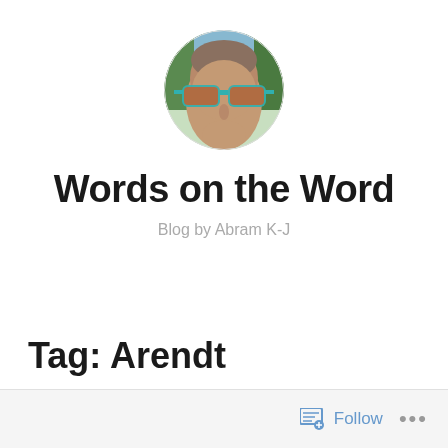[Figure (photo): Circular avatar photo of a person wearing teal/turquoise cat-eye sunglasses, outdoors with trees in background]
Words on the Word
Blog by Abram K-J
Tag: Arendt
Follow ...